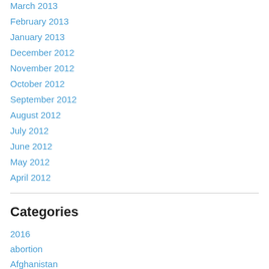March 2013
February 2013
January 2013
December 2012
November 2012
October 2012
September 2012
August 2012
July 2012
June 2012
May 2012
April 2012
Categories
2016
abortion
Afghanistan
Airlines